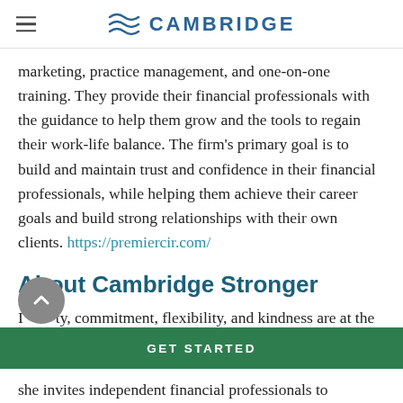CAMBRIDGE
marketing, practice management, and one-on-one training. They provide their financial professionals with the guidance to help them grow and the tools to regain their work-life balance. The firm's primary goal is to build and maintain trust and confidence in their financial professionals, while helping them achieve their career goals and build strong relationships with their own clients. https://premiercir.com/
About Cambridge Stronger
Integrity, commitment, flexibility, and kindness are at the core of Cambridge's values and drive the Spirit of
she invites independent financial professionals to